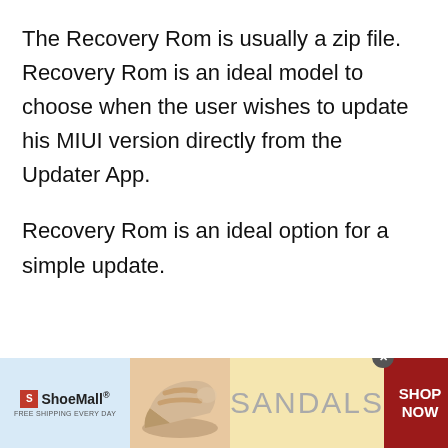The Recovery Rom is usually a zip file. Recovery Rom is an ideal model to choose when the user wishes to update his MIUI version directly from the Updater App.
Recovery Rom is an ideal option for a simple update.
[Figure (other): ShoeMall advertisement banner showing a sandal/wedge shoe image, SANDALS text, and SHOP NOW call to action on dark red background]